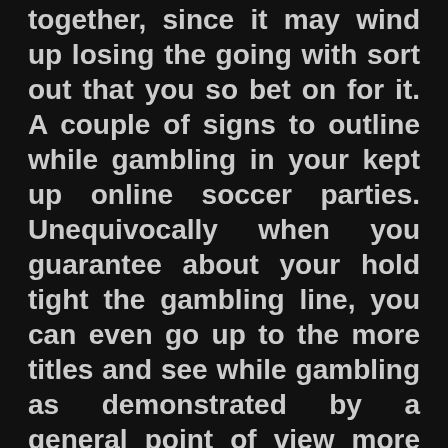together, since it may wind up losing the going with sort out that you so bet on for it. A couple of signs to outline while gambling in your kept up online soccer parties. Unequivocally when you guarantee about your hold tight the gambling line, you can even go up to the more titles and see while gambling as demonstrated by a general point of view more levels of cash.
Gambling
< Sports Betting Offshoot – Online Business people Trading out Enormous
> Should You Play Slots Internet or at Free